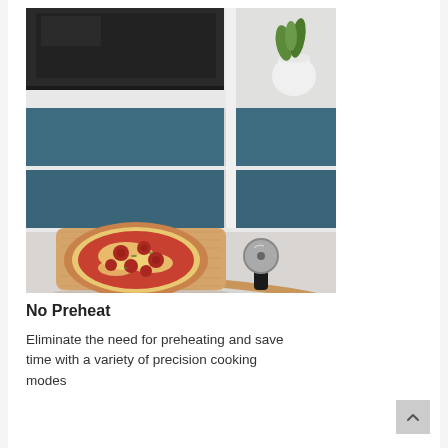[Figure (photo): A pizza on a wooden pizza peel/paddle on a light grey countertop, with a pizza cutter wheel beside it. Behind the counter are blue-teal cabinet drawers and a dark oven, plus a white pot with a green plant visible in the upper right.]
No Preheat
Eliminate the need for preheating and save time with a variety of precision cooking modes